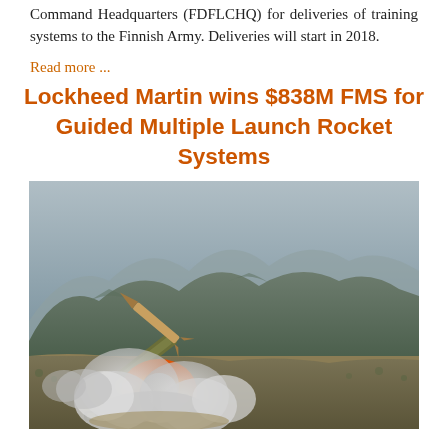Command Headquarters (FDFLCHQ) for deliveries of training systems to the Finnish Army. Deliveries will start in 2018.
Read more ...
Lockheed Martin wins $838M FMS for Guided Multiple Launch Rocket Systems
[Figure (photo): A military multiple launch rocket system firing a rocket, with a large plume of smoke and fire, set against a mountainous desert landscape.]